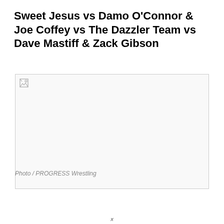Sweet Jesus vs Damo O'Connor & Joe Coffey vs The Dazzler Team vs Dave Mastiff & Zack Gibson
[Figure (photo): Image failed to load (broken image placeholder). Photo credit: PROGRESS Wrestling]
Photo / PROGRESS Wrestling